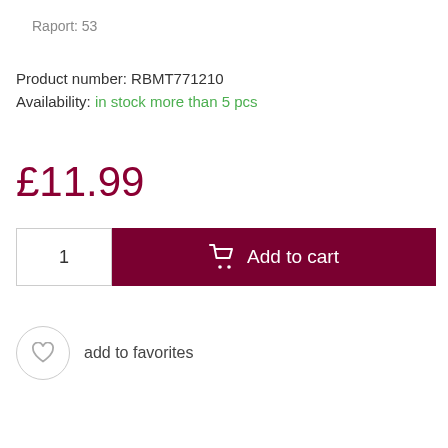Raport: 53
Product number: RBMT771210
Availability: in stock more than 5 pcs
£11.99
1
Add to cart
add to favorites